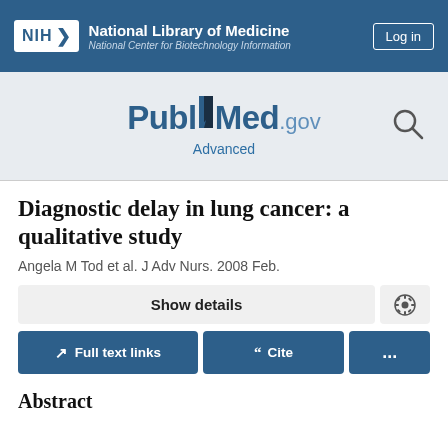NIH National Library of Medicine National Center for Biotechnology Information | Log in
[Figure (logo): PubMed.gov logo with Advanced link and search icon]
Diagnostic delay in lung cancer: a qualitative study
Angela M Tod et al. J Adv Nurs. 2008 Feb.
Show details
Full text links | Cite | ...
Abstract